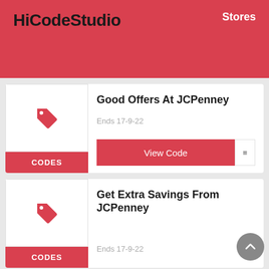HiCodeStudio   Stores
Good Offers At JCPenney
Ends 17-9-22
View Code
Get Extra Savings From JCPenney
Ends 17-9-22